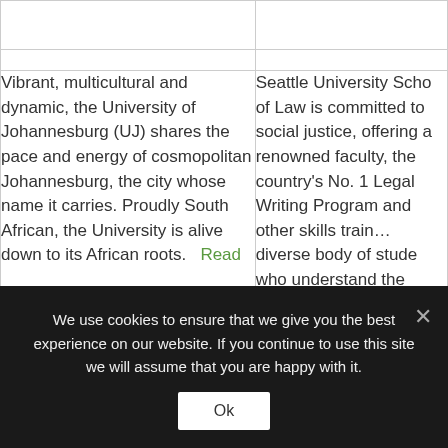| University of Johannesburg | Seattle University School of Law |
| --- | --- |
|  |  |
|  |  |
| Vibrant, multicultural and dynamic, the University of Johannesburg (UJ) shares the pace and energy of cosmopolitan Johannesburg, the city whose name it carries. Proudly South African, the University is alive down to its African roots... Read | Seattle University School of Law is committed to social justice, offering a renowned faculty, the country's No. 1 Legal Writing Program and other skills training, a diverse body of students who understand the responsibility that com... |
We use cookies to ensure that we give you the best experience on our website. If you continue to use this site we will assume that you are happy with it.